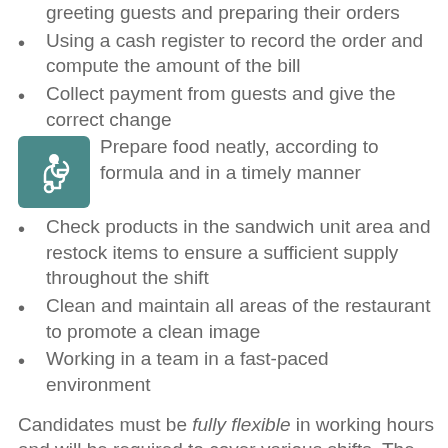greeting guests and preparing their orders
Using a cash register to record the order and compute the amount of the bill
Collect payment from guests and give the correct change
Prepare food neatly, according to formula and in a timely manner
Check products in the sandwich unit area and restock items to ensure a sufficient supply throughout the shift
Clean and maintain all areas of the restaurant to promote a clean image
Working in a team in a fast-paced environment
Candidates must be fully flexible in working hours and will be required to cover various shifts. The hourly rate is dependent on your age, please enquire for more details.